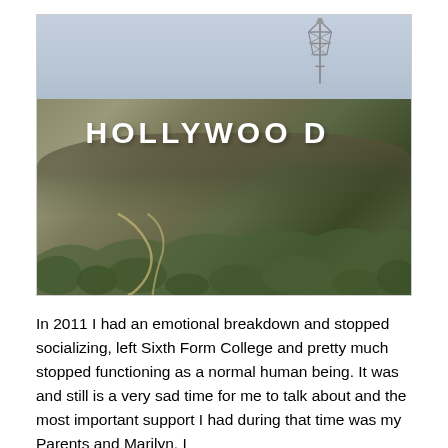[Figure (photo): Photograph of the Hollywood sign on a hillside in Los Angeles. The white letters spell HOLLYWOOD on a dry, brush-covered hillside. A transmission tower is visible at the top right. The sky is a pale blue-grey.]
In 2011 I had an emotional breakdown and stopped socializing, left Sixth Form College and pretty much stopped functioning as a normal human being. It was and still is a very sad time for me to talk about and the most important support I had during that time was my Parents and Marilyn. I